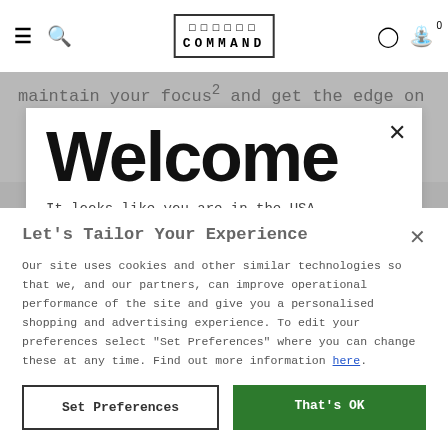COMMAND (logo) — navigation bar with hamburger menu, search, user, and cart icons
maintain your focus² and get the edge on
Welcome
It looks like you are in the USA,
Let's Tailor Your Experience
Our site uses cookies and other similar technologies so that we, and our partners, can improve operational performance of the site and give you a personalised shopping and advertising experience. To edit your preferences select "Set Preferences" where you can change these at any time. Find out more information here.